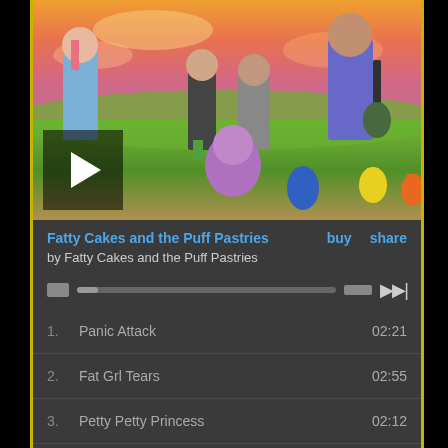[Figure (illustration): Album art for Fatty Cakes and the Puff Pastries showing colorful cartoon characters including musicians and fantastical creatures on a grassy hill with a dramatic sky background. A play button overlay is visible in the lower left.]
Fatty Cakes and the Puff Pastries
by Fatty Cakes and the Puff Pastries
1. Panic Attack  02:21
2. Fat Grl Tears  02:55
3. Petty Petty Princess  02:12
4. Alien Babe  02:27
5. BFF  03:27